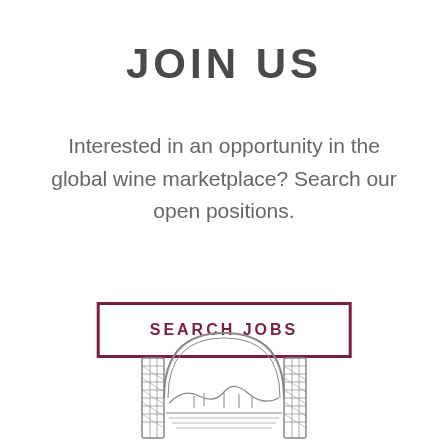JOIN US
Interested in an opportunity in the global wine marketplace? Search our open positions.
SEARCH JOBS
[Figure (illustration): Wine cellar or winery arch/gate illustration, a decorative emblem with an arched gateway and vineyard landscape, drawn in a line-art style]